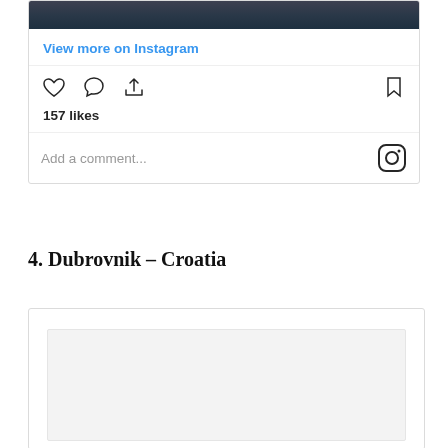[Figure (screenshot): Instagram post card showing image strip at top, 'View more on Instagram' link, action icons (heart, comment, share, bookmark), 157 likes, and 'Add a comment...' field with Instagram logo]
4. Dubrovnik – Croatia
[Figure (screenshot): Second Instagram card (partially visible) with gray image placeholder area]